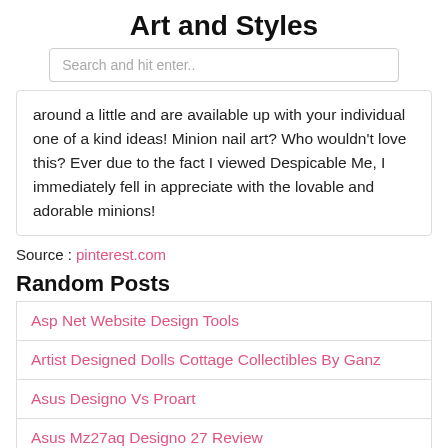Art and Styles
Search and hit enter..
around a little and are available up with your individual one of a kind ideas! Minion nail art? Who wouldn't love this? Ever due to the fact I viewed Despicable Me, I immediately fell in appreciate with the lovable and adorable minions!
Source : pinterest.com
Random Posts
Asp Net Website Design Tools
Artist Designed Dolls Cottage Collectibles By Ganz
Asus Designo Vs Proart
Asus Mz27aq Designo 27 Review